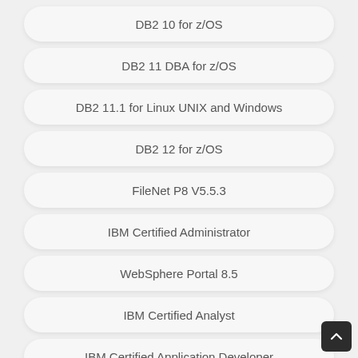DB2 10 for z/OS
DB2 11 DBA for z/OS
DB2 11.1 for Linux UNIX and Windows
DB2 12 for z/OS
FileNet P8 V5.5.3
IBM Certified Administrator
WebSphere Portal 8.5
IBM Certified Analyst
IBM Certified Application Developer
IBM Certified Architect